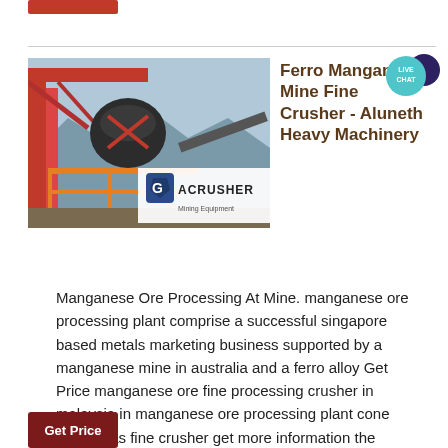[Figure (photo): Industrial crusher/mining equipment mounted on orange steel frame structure, with ACRUSHER Mining Equipment logo overlay]
Ferro Manganese Mine Fine Crusher - Aluneth Heavy Machinery
Manganese Ore Processing At Mine. manganese ore processing plant comprise a successful singapore based metals marketing business supported by a manganese mine in australia and a ferro alloy Get Price manganese ore fine processing crusher in malaysia in manganese ore processing plant cone crusher as fine crusher get more information the company ...
Get Price